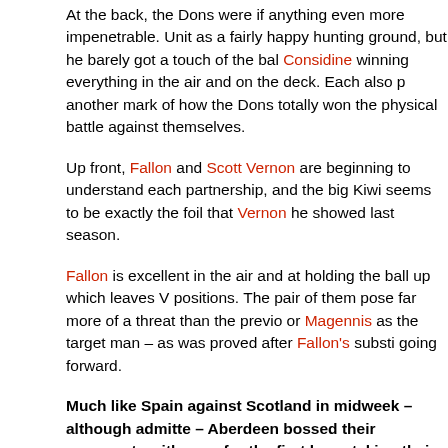At the back, the Dons were if anything even more impenetrable. Unit as a fairly happy hunting ground, but he barely got a touch of the bal Considine winning everything in the air and on the deck. Each also p another mark of how the Dons totally won the physical battle against themselves.
Up front, Fallon and Scott Vernon are beginning to understand each partnership, and the big Kiwi seems to be exactly the foil that Vernon he showed last season.
Fallon is excellent in the air and at holding the ball up which leaves V positions. The pair of them pose far more of a threat than the previo or Magennis as the target man – as was proved after Fallon's substi going forward.
Much like Spain against Scotland in midweek – although admitte – Aberdeen bossed their opponents with ease for the first hour, taking their foot off the gas and allowing the visitors back into t
United's goal was no more than a consolation for the visiting support